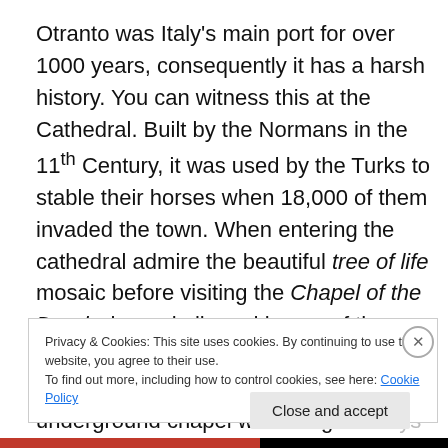Otranto was Italy's main port for over 1000 years, consequently it has a harsh history. You can witness this at the Cathedral. Built by the Normans in the 11th Century, it was used by the Turks to stable their horses when 18,000 of them invaded the town. When entering the cathedral admire the beautiful tree of life mosaic before visiting the Chapel of the Dead where skulls and bones of the beheaded victims lay neatly arranged in glass cabinets. Step downstairs to the underground chapel where legend says counting the pillars will never leave you with the
Privacy & Cookies: This site uses cookies. By continuing to use this website, you agree to their use.
To find out more, including how to control cookies, see here: Cookie Policy
Close and accept